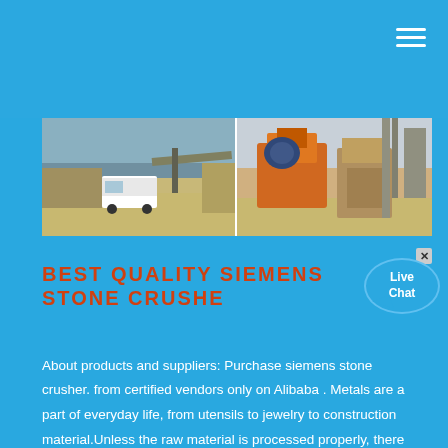[Figure (photo): Two construction/mining site photos side by side: left shows vehicles and conveyor equipment, right shows orange industrial machinery and crusher equipment]
BEST QUALITY SIEMENS STONE CRUSHE
About products and suppliers: Purchase siemens stone crusher. from certified vendors only on Alibaba . Metals are a part of everyday life, from utensils to jewelry to construction material.Unless the raw material is processed properly, there are high chances that the final products might lack in strength or durability.